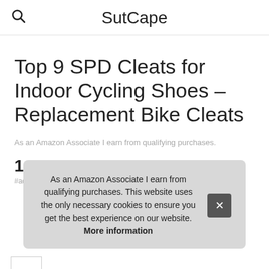SutCape
Top 9 SPD Cleats for Indoor Cycling Shoes – Replacement Bike Cleats
As an Amazon Associate I earn from qualifying purchases.
1. BY
#ad
As an Amazon Associate I earn from qualifying purchases. This website uses the only necessary cookies to ensure you get the best experience on our website. More information